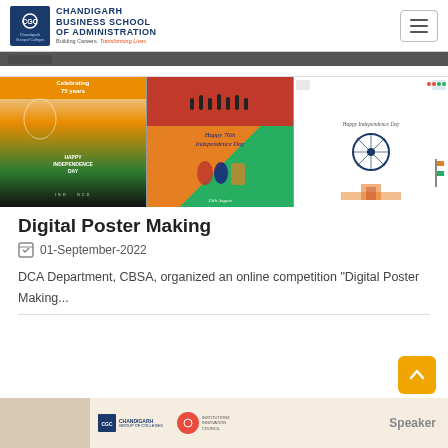Chandigarh Business School of Administration – Building Careers. Transforming Lives.
[Figure (photo): Three Independence Day digital posters side by side: left poster shows 'Celebrating 75 years HAPPY INDEPENDENCE DAY' on orange and green background with India map; middle poster has red top half and orange/green bottom with 'Happy 76th Independence Day' script and running figures; right poster has white background with 'Happy Independence Day' text and Ashoka Chakra imagery.]
Digital Poster Making
01-September-2022
DCA Department, CBSA, organized an online competition "Digital Poster Making...
[Figure (photo): Bottom footer banner showing Chandigarh Group of Colleges logo, another institutional logo, and 'Speaker' text label on beige background.]